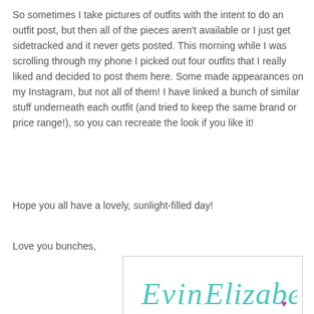So sometimes I take pictures of outfits with the intent to do an outfit post, but then all of the pieces aren't available or I just get sidetracked and it never gets posted. This morning while I was scrolling through my phone I picked out four outfits that I really liked and decided to post them here. Some made appearances on my Instagram, but not all of them! I have linked a bunch of similar stuff underneath each outfit (and tried to keep the same brand or price range!), so you can recreate the look if you like it!
Hope you all have a lovely, sunlight-filled day!
Love you bunches,
[Figure (illustration): Handwritten cursive signature reading 'Evin Elizabeth' with a small pink heart, in teal/turquoise color, inside a white box with light border]
[Figure (photo): Partial photo showing a warm-toned interior scene with a bright light source at top center, warm beige and tan tones]